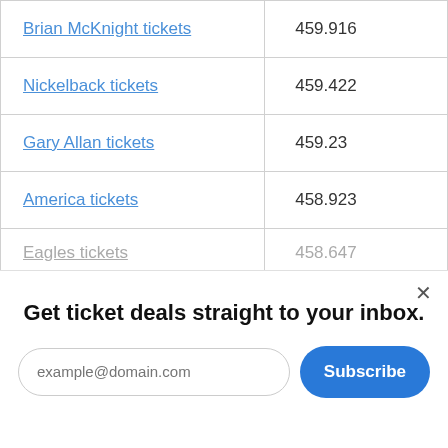| Brian McKnight tickets | 459.916 |
| Nickelback tickets | 459.422 |
| Gary Allan tickets | 459.23 |
| America tickets | 458.923 |
| Eagles tickets | 458.647 |
Get ticket deals straight to your inbox.